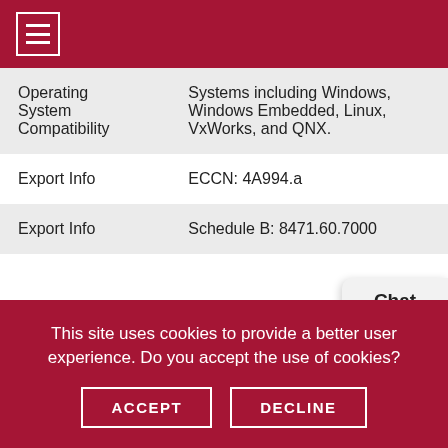|  |  |
| --- | --- |
| Operating System Compatibility | Systems including Windows, Windows Embedded, Linux, VxWorks, and QNX. |
| Export Info | ECCN: 4A994.a |
| Export Info | Schedule B: 8471.60.7000 |
See datasheet for full specifications
This site uses cookies to provide a better user experience. Do you accept the use of cookies?